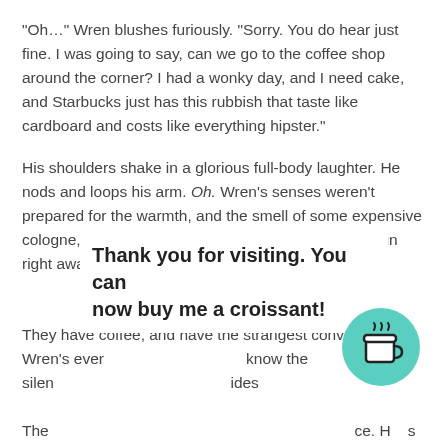"Oh…" Wren blushes furiously. "Sorry. You do hear just fine. I was going to say, can we go to the coffee shop around the corner? I had a wonky day, and I need cake, and Starbucks just has this rubbish that taste like cardboard and costs like everything hipster."
His shoulders shake in a glorious full-body laughter. He nods and loops his arm. Oh. Wren's senses weren't prepared for the warmth, and the smell of some expensive cologne, and the obscene images that filled her noggin right away. Blimey.
* * *
They have coffee, and have the strangest conversation Wren's ever [... know the silen[... ides...
Thank you for visiting. You can now buy me a croissant!
[Figure (illustration): A teal/green circular button with a coffee cup icon, resembling a 'Buy me a coffee' widget button]